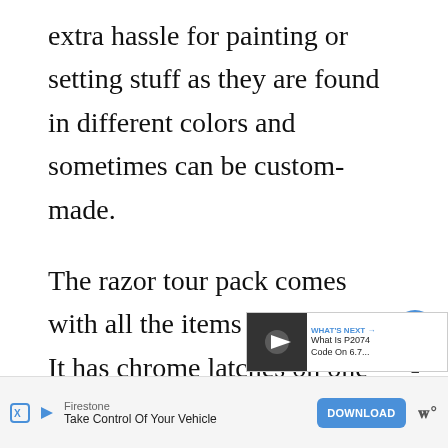extra hassle for painting or setting stuff as they are found in different colors and sometimes can be custom-made.
The razor tour pack comes with all the items pre-installed. It has chrome latches on one side and chrome hinges on another side. There is a tethering system that prevents the lid from falling back, and as it is retractable, it sucks in the cable as
[Figure (screenshot): UI overlay elements: heart/like button (blue circle), share button, and a 'What's Next' thumbnail card showing 'What Is P2074 Code On 6.7...']
[Figure (screenshot): Advertisement banner: Firestone 'Take Control Of Your Vehicle' with DOWNLOAD button in blue]